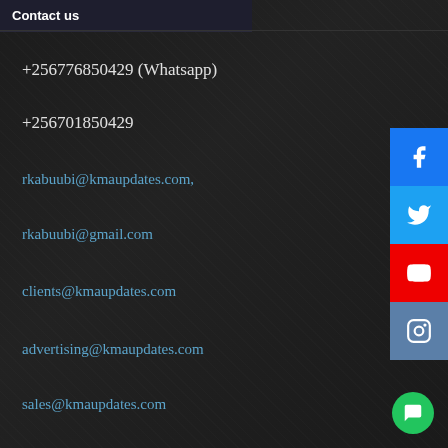Contact us
+256776850429 (Whatsapp)
+256701850429
rkabuubi@kmaupdates.com,
rkabuubi@gmail.com
clients@kmaupdates.com
advertising@kmaupdates.com
sales@kmaupdates.com